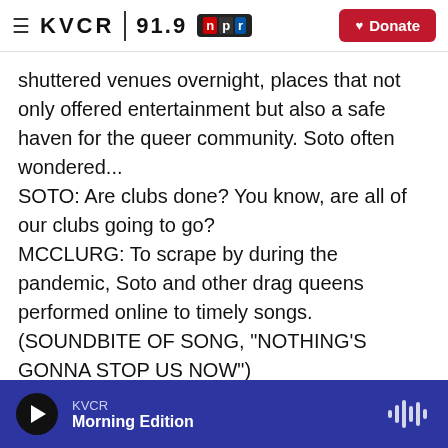≡ KVCR 91.9 npr | Donate
shuttered venues overnight, places that not only offered entertainment but also a safe haven for the queer community. Soto often wondered...
SOTO: Are clubs done? You know, are all of our clubs going to go?
MCCLURG: To scrape by during the pandemic, Soto and other drag queens performed online to timely songs.
(SOUNDBITE OF SONG, "NOTHING'S GONNA STOP US NOW")
KVCR Morning Edition